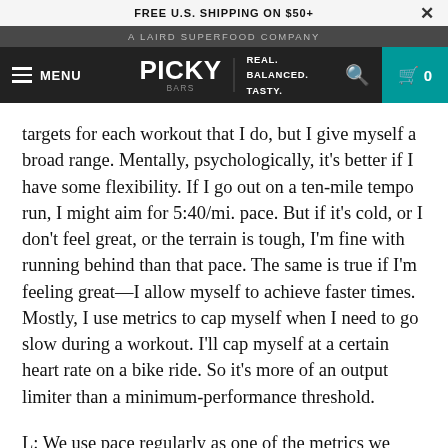FREE U.S. SHIPPING ON $50+
A LAIRD SUPERFOOD COMPANY
MENU | PICKY BARS | REAL. BALANCED. TASTY. | 0
targets for each workout that I do, but I give myself a broad range. Mentally, psychologically, it’s better if I have some flexibility. If I go out on a ten-mile tempo run, I might aim for 5:40/mi. pace. But if it’s cold, or I don’t feel great, or the terrain is tough, I’m fine with running behind than that pace. The same is true if I’m feeling great—I allow myself to achieve faster times. Mostly, I use metrics to cap myself when I need to go slow during a workout. I’ll cap myself at a certain heart rate on a bike ride. So it’s more of an output limiter than a minimum-performance threshold.
L: We use pace regularly as one of the metrics we closely follow in workouts. If you’re trying to qualify for the Boston Marathon, or qualify for an Olympic team,